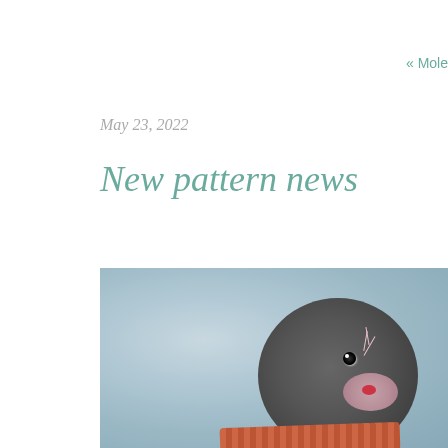[Figure (photo): Partial view of a bookshelf or crafting materials in top right corner]
« Mole
May 23, 2022
New pattern news
[Figure (photo): Close-up photo of a knitted mole toy with dark grey yarn body, pink nose and snout area, small black eye, and an orange/rust colored knitted scarf, against a light blue-grey background]